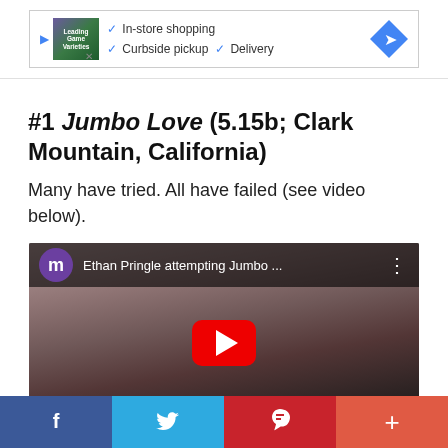[Figure (other): Advertisement banner with store logo, checkmarks for In-store shopping, Curbside pickup, Delivery, and a blue diamond direction arrow]
#1 Jumbo Love (5.15b; Clark Mountain, California)
Many have tried. All have failed (see video below).
[Figure (screenshot): YouTube video thumbnail showing Ethan Pringle attempting Jumbo Love on a rock face, with a YouTube play button overlay and user avatar with letter m]
[Figure (other): Social sharing bar with Facebook, Twitter, Pinterest, and plus buttons]